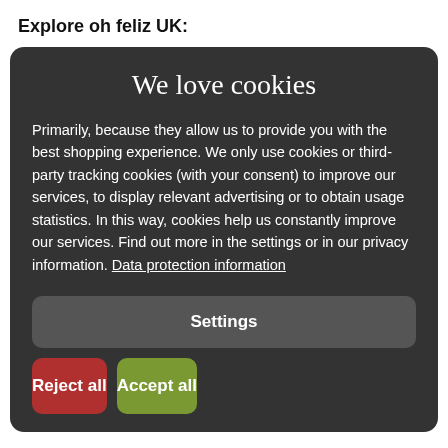Explore oh feliz UK:
We love cookies
Primarily, because they allow us to provide you with the best shopping experience. We only use cookies or third-party tracking cookies (with your consent) to improve our services, to display relevant advertising or to obtain usage statistics. In this way, cookies help us constantly improve our services. Find out more in the settings or in our privacy information. Data protection information
Settings
Reject all
Accept all